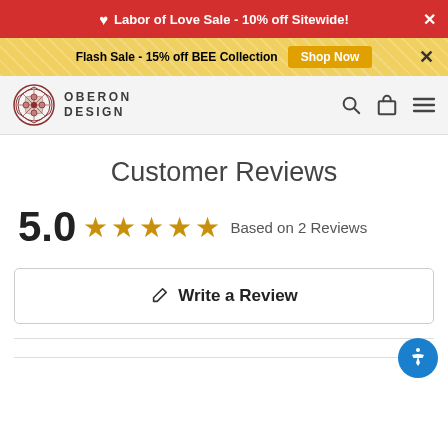❤ Labor of Love Sale - 10% off Sitewide! ✕
Flash Sale - 15% off BEE Collection  Shop Now  ✕
[Figure (logo): Oberon Design logo with Celtic knotwork circle and text OBERON DESIGN]
Customer Reviews
5.0 ★★★★★ Based on 2 Reviews
✎ Write a Review